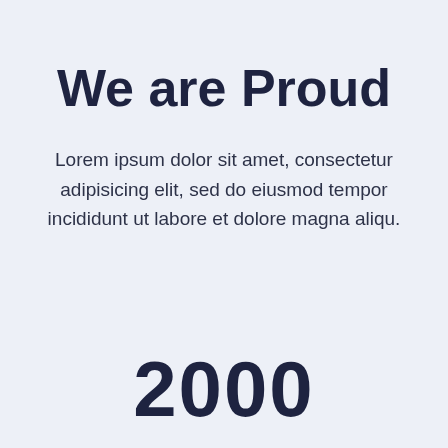We are Proud
Lorem ipsum dolor sit amet, consectetur adipisicing elit, sed do eiusmod tempor incididunt ut labore et dolore magna aliqu.
2000